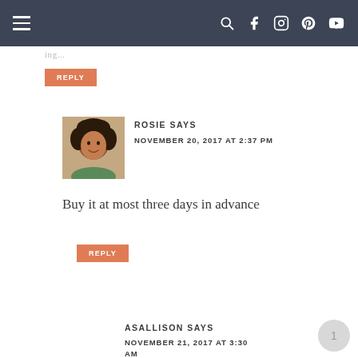Navigation bar with hamburger menu and social icons
ing...
REPLY
[Figure (photo): Avatar photo of Rosie, a woman with curly dark hair]
ROSIE SAYS
NOVEMBER 20, 2017 AT 2:37 PM
Buy it at most three days in advance
REPLY
ASALLISON SAYS
NOVEMBER 21, 2017 AT 3:30 AM